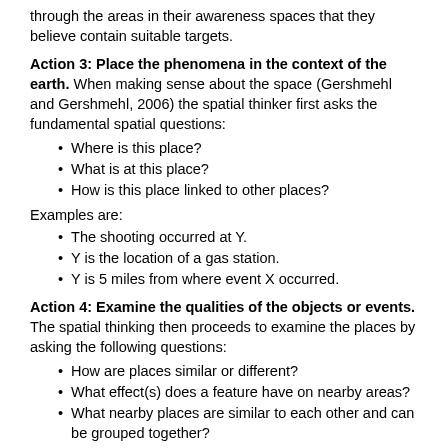through the areas in their awareness spaces that they believe contain suitable targets.
Action 3: Place the phenomena in the context of the earth. When making sense about the space (Gershmehl and Gershmehl, 2006) the spatial thinker first asks the fundamental spatial questions:
Where is this place?
What is at this place?
How is this place linked to other places?
Examples are:
The shooting occurred at Y.
Y is the location of a gas station.
Y is 5 miles from where event X occurred.
Action 4: Examine the qualities of the objects or events. The spatial thinking then proceeds to examine the places by asking the following questions:
How are places similar or different?
What effect(s) does a feature have on nearby areas?
What nearby places are similar to each other and can be grouped together?